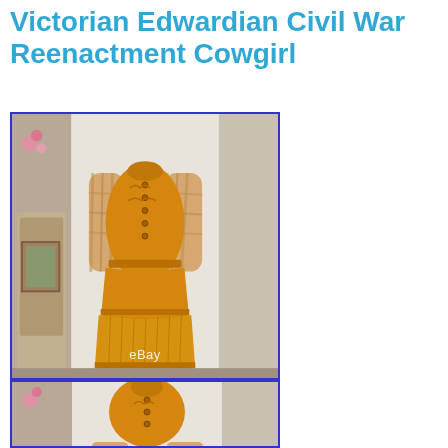Victorian Edwardian Civil War Reenactment Cowgirl
[Figure (photo): Full-length photo of an orange/golden Victorian-style dress with plaid sleeves on a dress form, displayed against a white curtain background. eBay watermark visible at bottom.]
[Figure (photo): Partial/thumbnail photo of the same orange Victorian dress showing the upper bodice detail, cropped at bottom of page.]